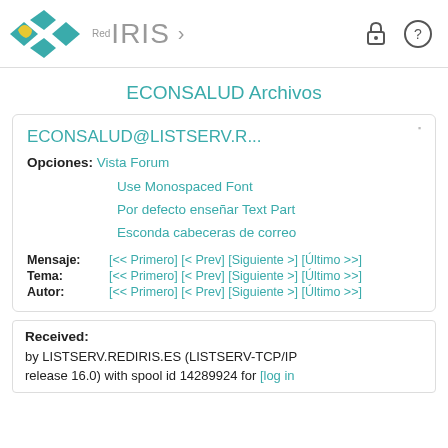[Figure (logo): RedIRIS logo with teal and yellow overlapping diamond/arrow shapes, and lock and help icons in the header]
ECONSALUD Archivos
ECONSALUD@LISTSERV.R...
Opciones: Vista Forum
Use Monospaced Font
Por defecto enseñar Text Part
Esconda cabeceras de correo
Mensaje: [<< Primero] [< Prev] [Siguiente >] [Último >>]
Tema: [<< Primero] [< Prev] [Siguiente >] [Último >>]
Autor: [<< Primero] [< Prev] [Siguiente >] [Último >>]
Received: by LISTSERV.REDIRIS.ES (LISTSERV-TCP/IP release 16.0) with spool id 14289924 for [log in